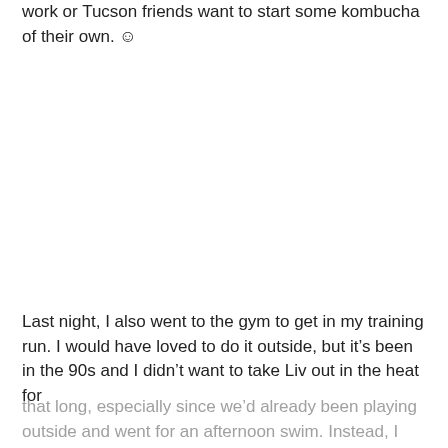work or Tucson friends want to start some kombucha of their own. ☺
Last night, I also went to the gym to get in my training run. I would have loved to do it outside, but it's been in the 90s and I didn't want to take Liv out in the heat for
that long, especially since we'd already been playing outside and went for an afternoon swim. Instead, I